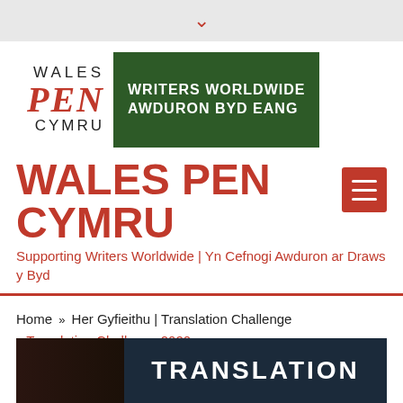[Figure (logo): Wales PEN Cymru logo with green box reading WRITERS WORLDWIDE / AWDURON BYD EANG]
WALES PEN CYMRU
Supporting Writers Worldwide | Yn Cefnogi Awduron ar Draws y Byd
Home » Her Gyfieithu | Translation Challenge » Translation Challenge 2020
[Figure (screenshot): Bottom banner showing TRANSLATION text on dark background]